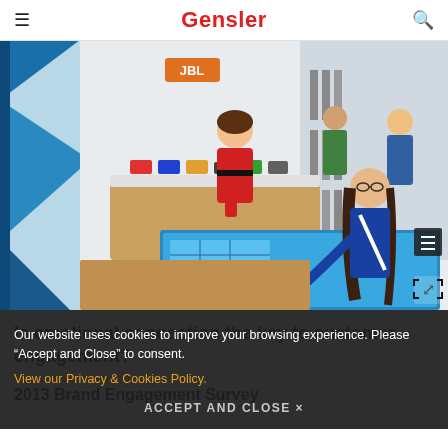Gensler
[Figure (photo): Interior of a retail electronics store. A woman in a red jacket leans over a display counter with colorful products. Another woman in a blue jacket uses a large touchscreen table in the foreground. Other shoppers browse in the background. JBL branding visible on the wall.]
Our website uses cookies to improve your browsing experience. Please “Accept and Close” to consent.
View our Privacy & Cookies Policy.
ACCEPT AND CLOSE ×
Is emotional connection the key to customer engagement?
RESEARCH PROJECT NAME
2013 Brand Engagement Survey